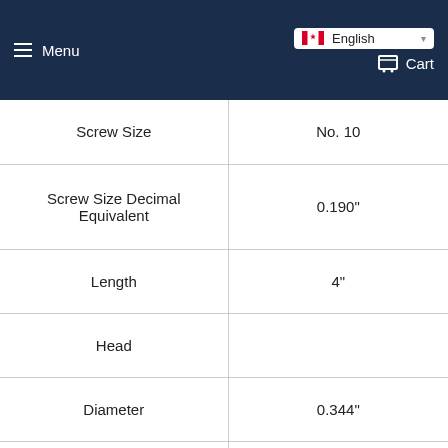Menu | English | Cart
| Property | Value |
| --- | --- |
| Screw Size | No. 10 |
| Screw Size Decimal Equivalent | 0.190" |
| Length | 4" |
| Head |  |
| Diameter | 0.344" |
| Height | 0.189" |
| Drive Size | No. 2 |